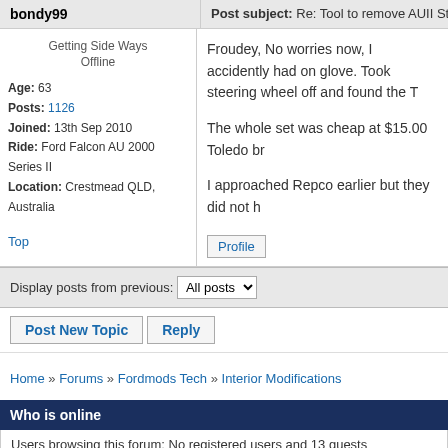bondy99 | Post subject: Re: Tool to remove AUII Steering Wheel
Getting Side Ways
Offline
Age: 63
Posts: 1126
Joined: 13th Sep 2010
Ride: Ford Falcon AU 2000 Series II
Location: Crestmead QLD, Australia
Froudey, No worries now, I accidently had one... glove. Took steering wheel off and found the T...

The whole set was cheap at $15.00 Toledo br...

I approached Repco earlier but they did not h...
Top
Profile
Display posts from previous: All posts
Post New Topic   Reply
Home » Forums » Fordmods Tech » Interior Modifications
Who is online
Users browsing this forum: No registered users and 13 guests